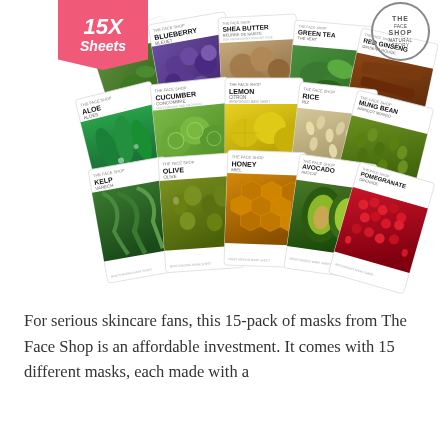[Figure (photo): Product photo of The Face Shop 15-pack facial sheet masks fanned out, showing varieties including Tea Tree, Blueberry, Shea Butter, Green Tea, Red Ginseng, Aloe, Cucumber, Lemon, Rice, Mung Bean, Olive, Honey, Avocado, Pomegranate, and Kelp. A pink banner in the upper left reads '15X Sheets' and The Face Shop logo appears in upper right.]
For serious skincare fans, this 15-pack of masks from The Face Shop is an affordable investment. It comes with 15 different masks, each made with a